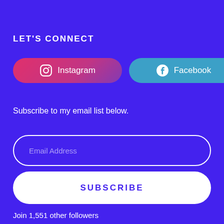LET'S CONNECT
[Figure (other): Instagram and Facebook social media buttons]
Subscribe to my email list below.
Email Address
SUBSCRIBE
Join 1,551 other followers